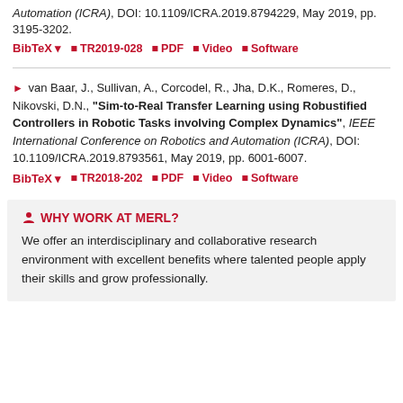Automation (ICRA), DOI: 10.1109/ICRA.2019.8794229, May 2019, pp. 3195-3202.
BibTeX | TR2019-028 | PDF | Video | Software
van Baar, J., Sullivan, A., Corcodel, R., Jha, D.K., Romeres, D., Nikovski, D.N., "Sim-to-Real Transfer Learning using Robustified Controllers in Robotic Tasks involving Complex Dynamics", IEEE International Conference on Robotics and Automation (ICRA), DOI: 10.1109/ICRA.2019.8793561, May 2019, pp. 6001-6007.
BibTeX | TR2018-202 | PDF | Video | Software
WHY WORK AT MERL?
We offer an interdisciplinary and collaborative research environment with excellent benefits where talented people apply their skills and grow professionally.